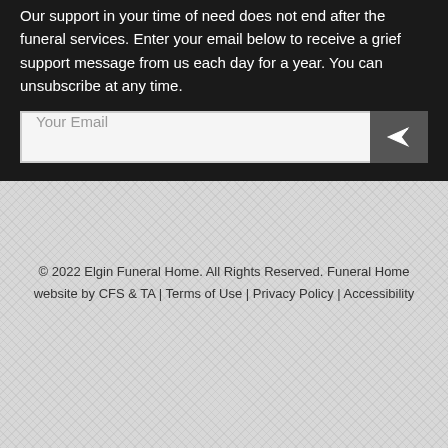Our support in your time of need does not end after the funeral services.  Enter your email below to receive a grief support message from us each day for a year.  You can unsubscribe at any time.
© 2022 Elgin Funeral Home. All Rights Reserved. Funeral Home website by CFS & TA | Terms of Use | Privacy Policy | Accessibility